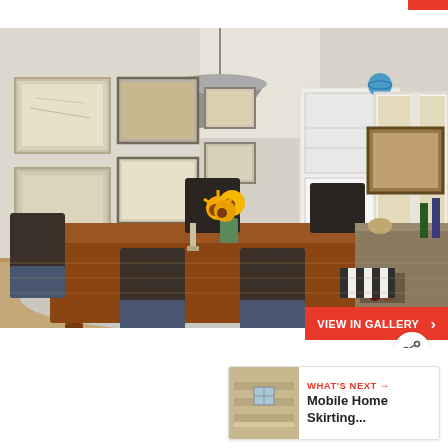[Figure (photo): Interior dining room photo showing a wooden dining table with dark wicker chairs, sunflowers as centerpiece, gallery wall with framed artwork, industrial pendant light, white china cabinet in background, and a sideboard with wine rack on the right. The room has a light tan/beige color scheme.]
VIEW IN GALLERY ›
[Figure (illustration): Share icon - circle with dots connected by lines]
WHAT'S NEXT → Mobile Home Skirting...